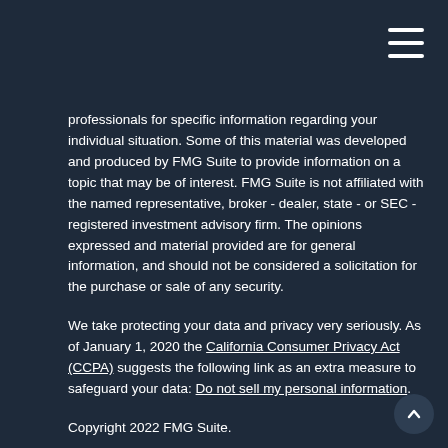professionals for specific information regarding your individual situation. Some of this material was developed and produced by FMG Suite to provide information on a topic that may be of interest. FMG Suite is not affiliated with the named representative, broker - dealer, state - or SEC - registered investment advisory firm. The opinions expressed and material provided are for general information, and should not be considered a solicitation for the purchase or sale of any security.
We take protecting your data and privacy very seriously. As of January 1, 2020 the California Consumer Privacy Act (CCPA) suggests the following link as an extra measure to safeguard your data: Do not sell my personal information.
Copyright 2022 FMG Suite.
Thomas Sullivan & Matthew Condon are Registered Representatives of and Securities and Investment Advisory services offered through Hornor, Townsend & Kent, Inc., (HTK), Registered Investment Advisor, Member FINRA/SIPC, 600 Dresher Road, Horsham, PA 19044, 800-873-7637. Condon Sullivan Wealth